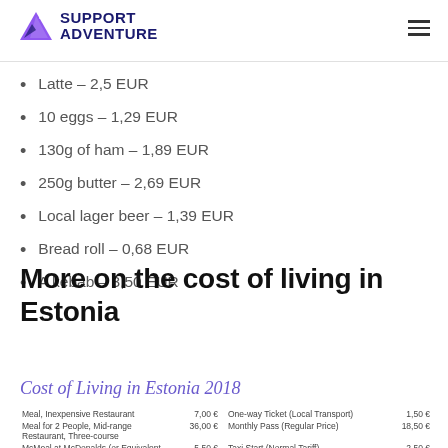Support Adventure
Latte – 2,5 EUR
10 eggs – 1,29 EUR
130g of ham – 1,89 EUR
250g butter – 2,69 EUR
Local lager beer – 1,39 EUR
Bread roll – 0,68 EUR
A kebab – 3,50 EUR
More on the cost of living in Estonia
Cost of Living in Estonia 2018
| Meal, Inexpensive Restaurant | 7,00 € | One-way Ticket (Local Transport) | 1,50 € |
| Meal for 2 People, Mid-range Restaurant, Three-course | 36,00 € | Monthly Pass (Regular Price) | 18,50 € |
| McMeal at McDonalds (or Equivalent Combo Meal) | 5,50 € | Taxi Start (Normal Tariff) | 2,50 € |